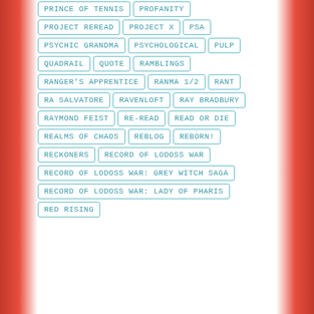PRINCE OF TENNIS
PROFANITY
PROJECT REREAD
PROJECT X
PSA
PSYCHIC GRANDMA
PSYCHOLOGICAL
PULP
QUADRAIL
QUOTE
RAMBLINGS
RANGER'S APPRENTICE
RANMA 1/2
RANT
RA SALVATORE
RAVENLOFT
RAY BRADBURY
RAYMOND FEIST
RE-READ
READ OR DIE
REALMS OF CHAOS
REBLOG
REBORN!
RECKONERS
RECORD OF LODOSS WAR
RECORD OF LODOSS WAR: GREY WITCH SAGA
RECORD OF LODOSS WAR: LADY OF PHARIS
RED RISING